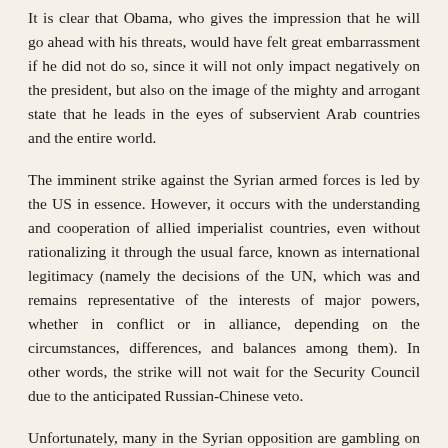It is clear that Obama, who gives the impression that he will go ahead with his threats, would have felt great embarrassment if he did not do so, since it will not only impact negatively on the president, but also on the image of the mighty and arrogant state that he leads in the eyes of subservient Arab countries and the entire world.
The imminent strike against the Syrian armed forces is led by the US in essence. However, it occurs with the understanding and cooperation of allied imperialist countries, even without rationalizing it through the usual farce, known as international legitimacy (namely the decisions of the UN, which was and remains representative of the interests of major powers, whether in conflict or in alliance, depending on the circumstances, differences, and balances among them). In other words, the strike will not wait for the Security Council due to the anticipated Russian-Chinese veto.
Unfortunately, many in the Syrian opposition are gambling on this strike and the US position in general. They believe this would create an opportunity for them to seize power, skipping over the movement and of the masses and their independent decision. It should not be a surprise, then, that the representatives of this